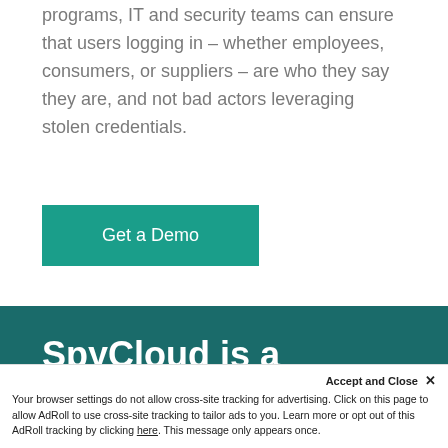programs, IT and security teams can ensure that users logging in – whether employees, consumers, or suppliers – are who they say they are, and not bad actors leveraging stolen credentials.
Get a Demo
SpyCloud is a Gartner Cool Vendor
in Identity Management and
Accept and Close ✕ Your browser settings do not allow cross-site tracking for advertising. Click on this page to allow AdRoll to use cross-site tracking to tailor ads to you. Learn more or opt out of this AdRoll tracking by clicking here. This message only appears once.